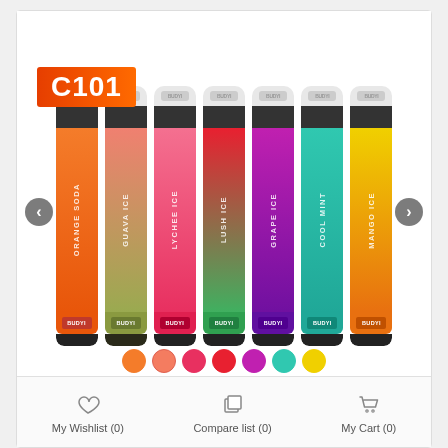C101
[Figure (photo): Seven colorful disposable vape pens displayed vertically side by side: Orange Soda (orange), Guava Ice (coral/olive), Lychee Ice (pink), Lush Ice (red/green), Grape Ice (purple), Cool Mint (teal), Mango Ice (yellow/orange). Each has a white/grey cap, black mouthpiece tip, branded body with flavor name written vertically, and a BUDYI brand badge at the bottom. Navigation arrows on left and right sides.]
My Wishlist (0)
Compare list (0)
My Cart (0)